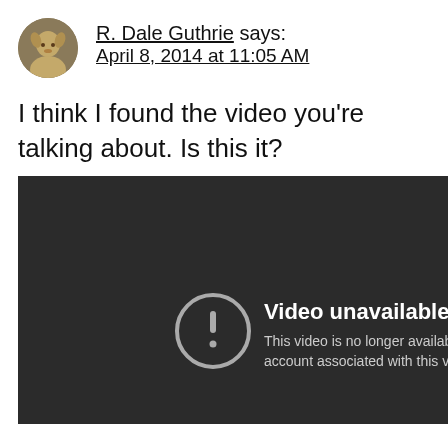R. Dale Guthrie says: April 8, 2014 at 11:05 AM
I think I found the video you’re talking about. Is this it?
[Figure (screenshot): YouTube video player showing 'Video unavailable' error message with a circle-exclamation icon. Text reads: 'Video unavailable. This video is no longer availabl... account associated with this v...' Dark background.]